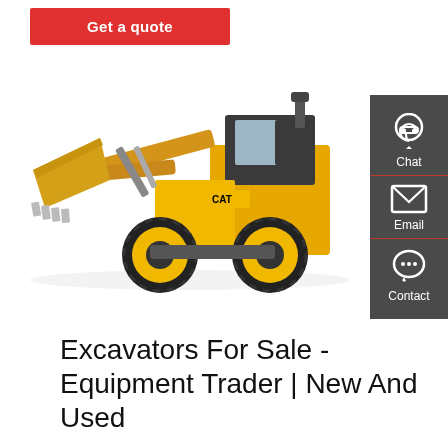Get a quote
[Figure (photo): Yellow Caterpillar wheel loader / excavator on white background]
Chat
Email
Contact
Excavators For Sale - Equipment Trader | New And Used
Premium. $39,000. YANMAR B27-2 Long Reach High Reach - 151 mi. away. Premium. $219,000. 2001 CATERPILLAR